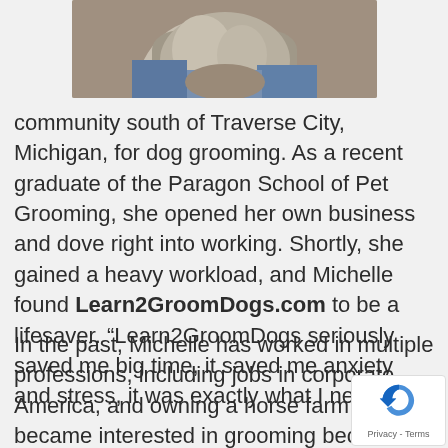[Figure (photo): Cropped photo showing a dog being groomed, partial view of person in blue jeans]
community south of Traverse City, Michigan, for dog grooming. As a recent graduate of the Paragon School of Pet Grooming, she opened her own business and dove right into working. Shortly, she gained a heavy workload, and Michelle found Learn2GroomDogs.com to be a lifesaver. “Learn2GroomDogs seriously saved me big time, it saved me anxiety and stress, it was exactly what I needed.”
In the past, Michelle has worked in multiple professions, including jobs in corporate America, and owning a horse farm. She became interested in grooming because o